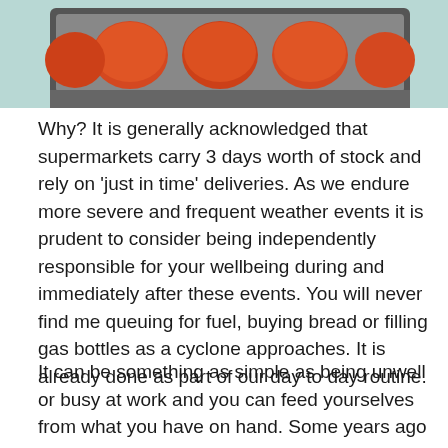[Figure (photo): A baking tray with several orange/red tomatoes on it, on a light teal/green surface. Only the bottom portion of the tray and tomatoes are visible, cropped at top.]
Why? It is generally acknowledged that supermarkets carry 3 days worth of stock and rely on 'just in time' deliveries. As we endure more severe and frequent weather events it is prudent to consider being independently responsible for your wellbeing during and immediately after these events. You will never find me queuing for fuel, buying bread or filling gas bottles as a cyclone approaches. It is already done as part of our day to day routine.
It can be something as simple as being unwell or busy at work and you can feed yourselves from what you have on hand. Some years ago I was snowed under at work and barely had time to do the basics so each week I would